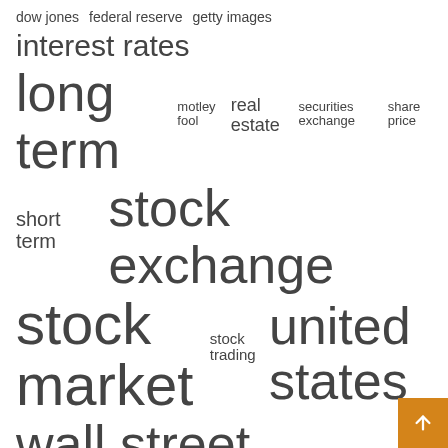[Figure (infographic): Word cloud of finance-related terms in varying font sizes: dow jones, federal reserve, getty images, interest rates, long term, motley fool, real estate, securities exchange, share price, short term, stock exchange, stock market, stock trading, united states, wall street]
Recent Posts
Best Bad Credit Loans with no credit check: Best Online Loan Lender for those with bad credit, and guaranteed Approval in 2022
Inflation will resolve itself as Fed pivot looms
Investing in disappointment: trendy “specialty” ETFs almost always lose money